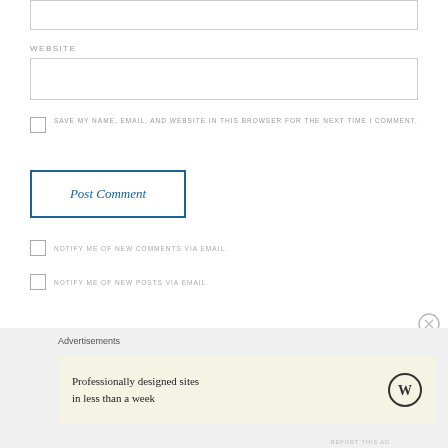WEBSITE
SAVE MY NAME, EMAIL, AND WEBSITE IN THIS BROWSER FOR THE NEXT TIME I COMMENT.
Post Comment
NOTIFY ME OF NEW COMMENTS VIA EMAIL.
NOTIFY ME OF NEW POSTS VIA EMAIL.
Advertisements
Professionally designed sites in less than a week
REPORT THIS AD